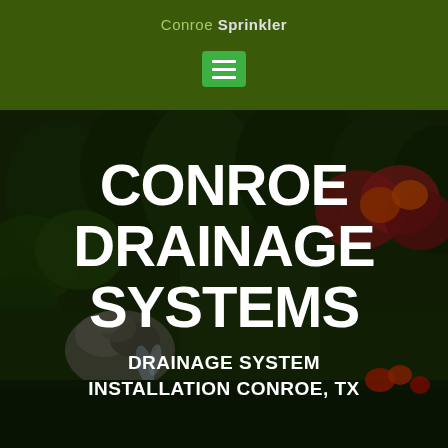Conroe Sprinkler
[Figure (photo): Background photo of a garden with sprinklers, green lawn, colorful flowers and shrubs, stone water feature, and trees in the background. Dark overlay applied.]
CONROE DRAINAGE SYSTEMS
DRAINAGE SYSTEM INSTALLATION CONROE, TX